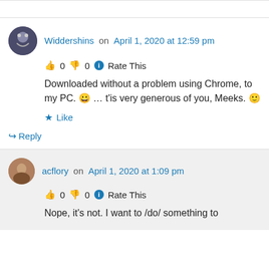Widdershins on April 1, 2020 at 12:59 pm
👍 0 👎 0 ℹ Rate This
Downloaded without a problem using Chrome, to my PC. 😀 … t'is very generous of you, Meeks. 🙂
★ Like
↪ Reply
acflory on April 1, 2020 at 1:09 pm
👍 0 👎 0 ℹ Rate This
Nope, it's not. I want to /do/ something to